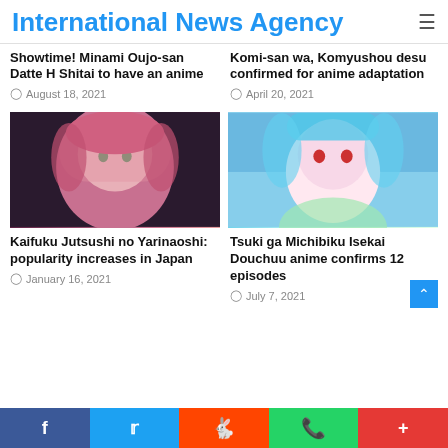International News Agency
Showtime! Minami Oujo-san Datte H Shitai to have an anime
August 18, 2021
Komi-san wa, Komyushou desu confirmed for anime adaptation
April 20, 2021
[Figure (illustration): Anime character with pink hair, dark background]
[Figure (illustration): Anime character with blue hair and red eyes, light blue sky background]
Kaifuku Jutsushi no Yarinaoshi: popularity increases in Japan
January 16, 2021
Tsuki ga Michibiku Isekai Douchuu anime confirms 12 episodes
July 7, 2021